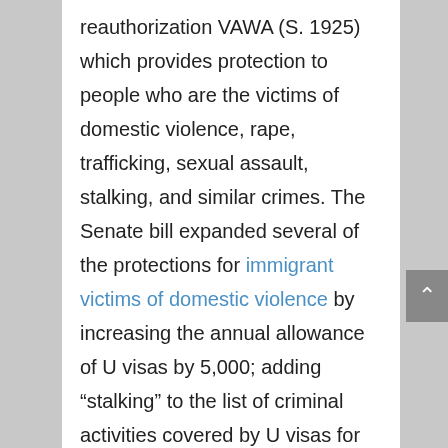reauthorization VAWA (S. 1925) which provides protection to people who are the victims of domestic violence, rape, trafficking, sexual assault, stalking, and similar crimes. The Senate bill expanded several of the protections for immigrant victims of domestic violence by increasing the annual allowance of U visas by 5,000; adding “stalking” to the list of criminal activities covered by U visas for victims; and adding protections for fiancées or fiancés